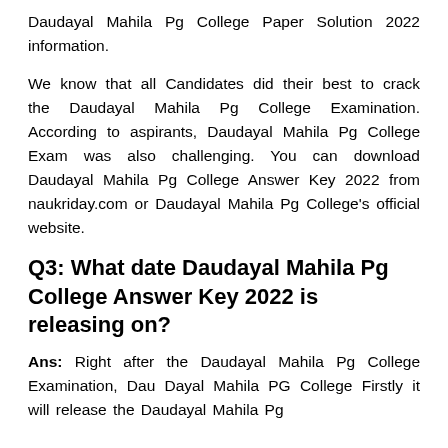Daudayal Mahila Pg College Paper Solution 2022 information.
We know that all Candidates did their best to crack the Daudayal Mahila Pg College Examination. According to aspirants, Daudayal Mahila Pg College Exam was also challenging. You can download Daudayal Mahila Pg College Answer Key 2022 from naukriday.com or Daudayal Mahila Pg College's official website.
Q3: What date Daudayal Mahila Pg College Answer Key 2022 is releasing on?
Ans: Right after the Daudayal Mahila Pg College Examination, Dau Dayal Mahila PG College Firstly it will release the Daudayal Mahila Pg...